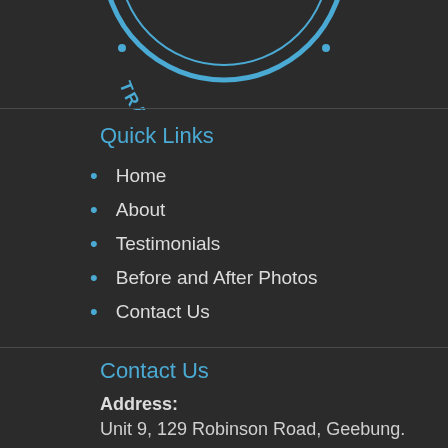[Figure (logo): Circular logo with blue text reading TRAINING GROUND, partially visible at top of page]
Quick Links
Home
About
Testimonials
Before and After Photos
Contact Us
Contact Us
Address:
Unit 9, 129 Robinson Road, Geebung.